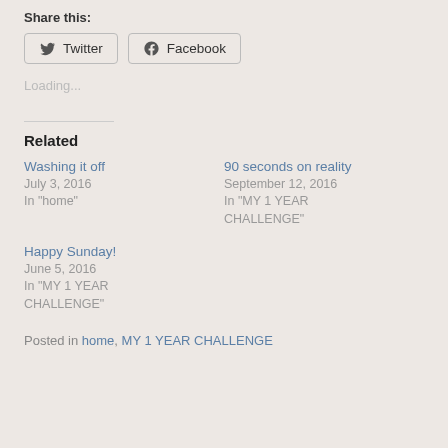Share this:
Twitter  Facebook
Loading...
Related
Washing it off
July 3, 2016
In "home"
90 seconds on reality
September 12, 2016
In "MY 1 YEAR CHALLENGE"
Happy Sunday!
June 5, 2016
In "MY 1 YEAR CHALLENGE"
Posted in home, MY 1 YEAR CHALLENGE